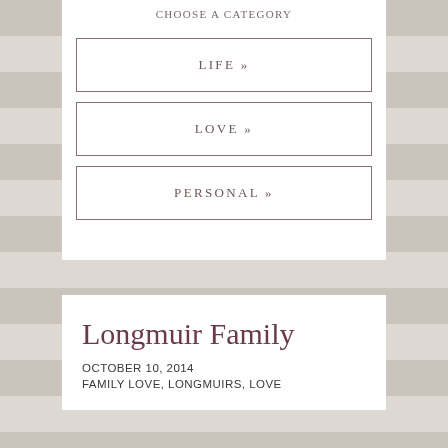CHOOSE A CATEGORY
LIFE »
LOVE »
PERSONAL »
Longmuir Family
OCTOBER 10, 2014
FAMILY LOVE, LONGMUIRS, LOVE